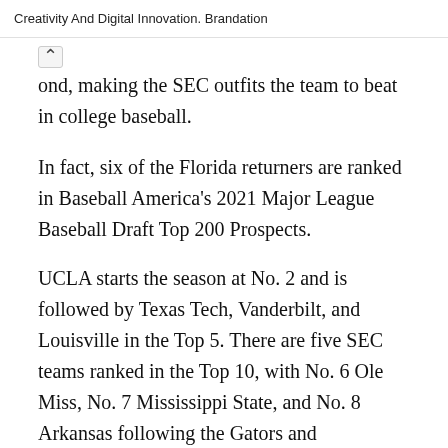Creativity And Digital Innovation. Brandation
…ond, making the SEC outfits the team to beat in college baseball.
In fact, six of the Florida returners are ranked in Baseball America's 2021 Major League Baseball Draft Top 200 Prospects.
UCLA starts the season at No. 2 and is followed by Texas Tech, Vanderbilt, and Louisville in the Top 5. There are five SEC teams ranked in the Top 10, with No. 6 Ole Miss, No. 7 Mississippi State, and No. 8 Arkansas following the Gators and Commodores.
Big News for Tennessee and Tennessee and Tennessee and Top 10…